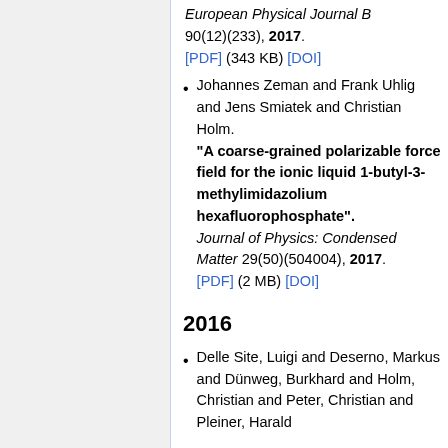European Physical Journal B 90(12)(233), 2017. [PDF] (343 KB) [DOI]
Johannes Zeman and Frank Uhlig and Jens Smiatek and Christian Holm. "A coarse-grained polarizable force field for the ionic liquid 1-butyl-3-methylimidazolium hexafluorophosphate". Journal of Physics: Condensed Matter 29(50)(504004), 2017. [PDF] (2 MB) [DOI]
2016
Delle Site, Luigi and Deserno, Markus and Dünweg, Burkhard and Holm, Christian and Peter, Christian and Pleiner, Harald